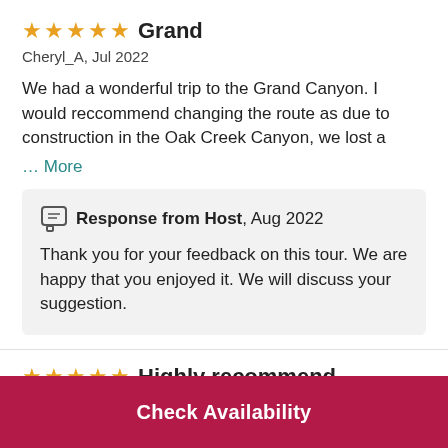★★★★★ Grand
Cheryl_A, Jul 2022
We had a wonderful trip to the Grand Canyon. I would reccommend changing the route as due to construction in the Oak Creek Canyon, we lost a
… More
Response from Host, Aug 2022
Thank you for your feedback on this tour. We are happy that you enjoyed it. We will discuss your suggestion.
★★★★★ Highly recommend
Check Availability